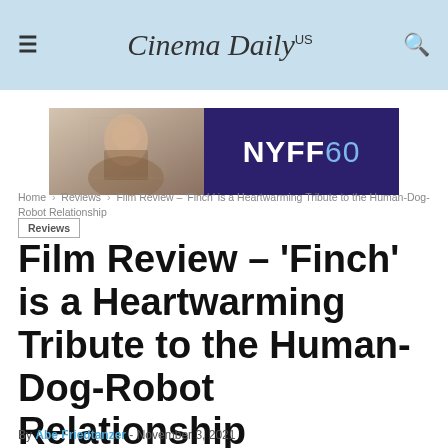Cinema Daily US
[Figure (other): NYFF60 advertisement banner with a woman in period dress on the left and the text NYFF60 on a dark purple background on the right]
Home › Reviews › Film Review – 'Finch' is a Heartwarming Tribute to the Human-Dog-Robot Relationship
Reviews
Film Review – 'Finch' is a Heartwarming Tribute to the Human-Dog-Robot Relationship
By Abe Friedtanzer - November 3, 2021